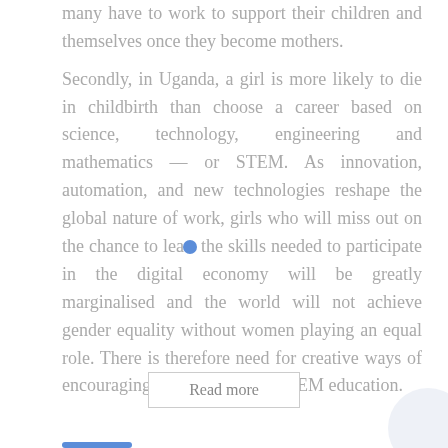many have to work to support their children and themselves once they become mothers. Secondly, in Uganda, a girl is more likely to die in childbirth than choose a career based on science, technology, engineering and mathematics — or STEM. As innovation, automation, and new technologies reshape the global nature of work, girls who will miss out on the chance to learn the skills needed to participate in the digital economy will be greatly marginalised and the world will not achieve gender equality without women playing an equal role. There is therefore need for creative ways of encouraging girls to embrace STEM education.